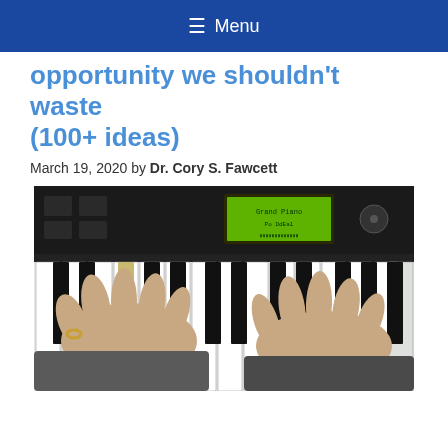Menu
opportunity we shouldn't waste (100+ ideas)
March 19, 2020 by Dr. Cory S. Fawcett
[Figure (photo): Two hands playing a keyboard/piano synthesizer with a green LCD display panel visible at the top showing 'Grand Piano' text]